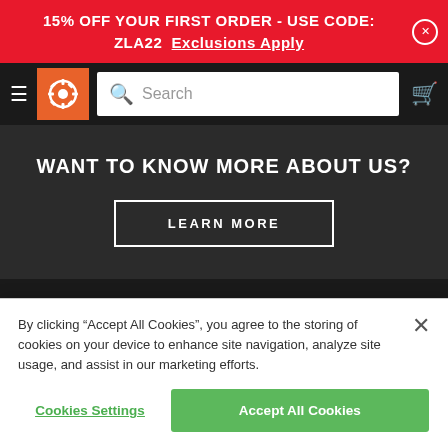15% OFF YOUR FIRST ORDER - USE CODE: ZLA22  Exclusions Apply
[Figure (screenshot): Navigation bar with hamburger menu, orange logo icon, search bar, and cart icon]
WANT TO KNOW MORE ABOUT US?
LEARN MORE
[Figure (logo): Partial logo visible at bottom of dark section]
By clicking “Accept All Cookies”, you agree to the storing of cookies on your device to enhance site navigation, analyze site usage, and assist in our marketing efforts.
Cookies Settings
Accept All Cookies